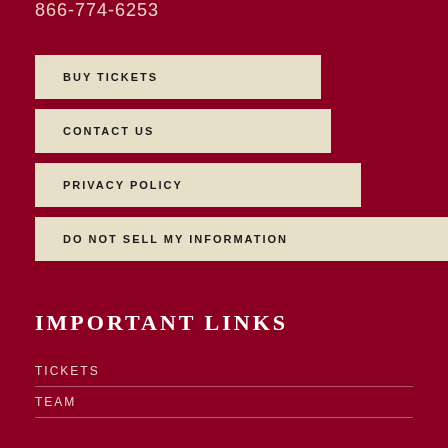866-774-6253
BUY TICKETS
CONTACT US
PRIVACY POLICY
DO NOT SELL MY INFORMATION
IMPORTANT LINKS
TICKETS
TEAM